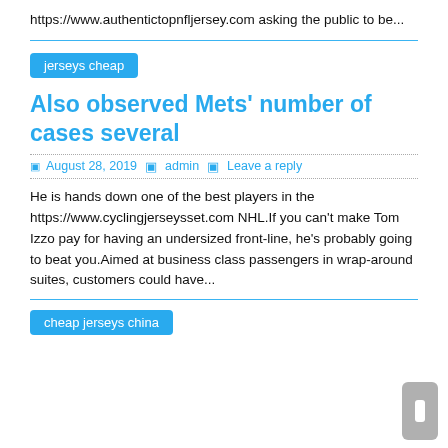https://www.authentictopnfljersey.com asking the public to be...
jerseys cheap
Also observed Mets’ number of cases several
August 28, 2019   admin   Leave a reply
He is hands down one of the best players in the https://www.cyclingjerseysset.com NHL.If you can’t make Tom Izzo pay for having an undersized front-line, he’s probably going to beat you.Aimed at business class passengers in wrap-around suites, customers could have...
cheap jerseys china